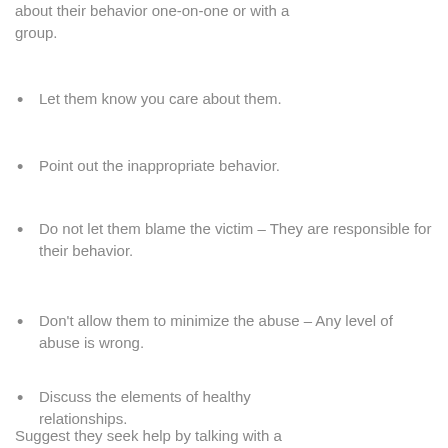about their behavior one-on-one or with a group.
Let them know you care about them.
Point out the inappropriate behavior.
Do not let them blame the victim – They are responsible for their behavior.
Don't allow them to minimize the abuse – Any level of abuse is wrong.
Discuss the elements of healthy relationships.
Suggest they seek help by talking with a